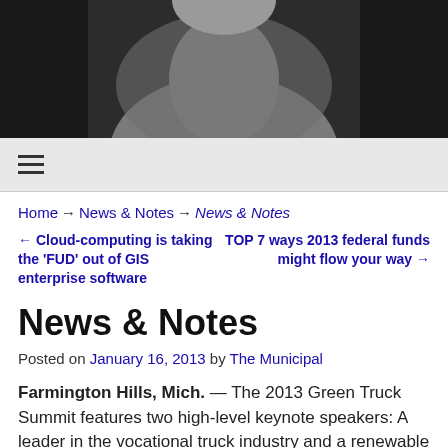[Figure (photo): A person seated, wearing a light-colored checked/plaid shirt, photographed from the torso up against a dark background.]
≡ (hamburger menu icon)
Home → News & Notes → News & Notes
← Cloud-computing is taking the 'FUD' out of GIS enterprise software    TOP 7 ways 2013 federal funds might flow your way →
News & Notes
Posted on January 16, 2013 by The Municipal
Farmington Hills, Mich. — The 2013 Green Truck Summit features two high-level keynote speakers: A leader in the vocational truck industry and a renewable energy innovator.
On March 5, the summit kicks off with a talk from Lee L